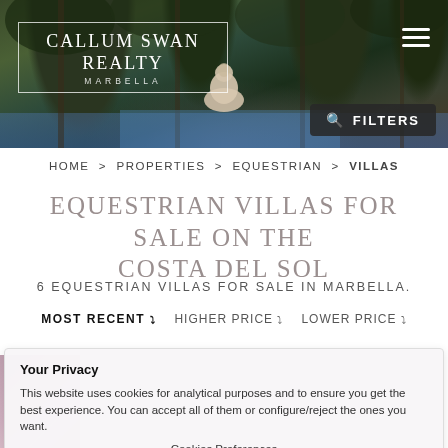[Figure (photo): Header photo of a luxury tropical property with palm trees, a pool, and a Buddha statue. The Callum Swan Realty Marbella logo is in the top left with a hamburger menu icon top right, and a Filters button bottom right.]
HOME > PROPERTIES > EQUESTRIAN > VILLAS
EQUESTRIAN VILLAS FOR SALE ON THE COSTA DEL SOL
6 EQUESTRIAN VILLAS FOR SALE IN MARBELLA.
MOST RECENT ▾  HIGHER PRICE ▾  LOWER PRICE ▾
Your Privacy

This website uses cookies for analytical purposes and to ensure you get the best experience. You can accept all of them or configure/reject the ones you want.

Cookies Preferences